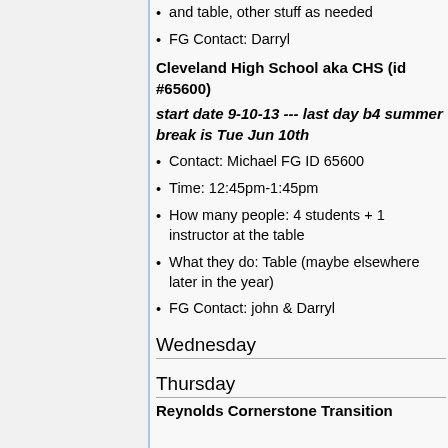and table, other stuff as needed
FG Contact: Darryl
Cleveland High School aka CHS (id #65600)
start date 9-10-13 --- last day b4 summer break is Tue Jun 10th
Contact: Michael FG ID 65600
Time: 12:45pm-1:45pm
How many people: 4 students + 1 instructor at the table
What they do: Table (maybe elsewhere later in the year)
FG Contact: john & Darryl
Wednesday
Thursday
Reynolds Cornerstone Transition